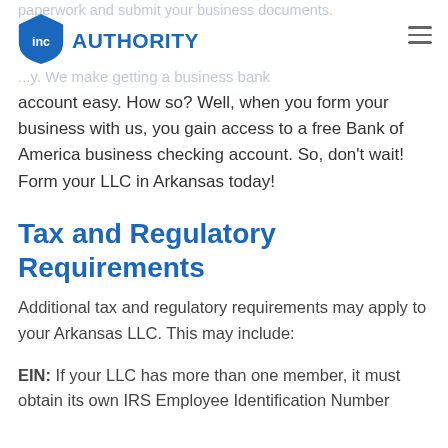paperwork and submit your business documents.
[Figure (logo): Inc Authority logo: blue shield with 'inc' text and 'AUTHORITY' wordmark]
...y. We make getting a business bank account easy. How so? Well, when you form your business with us, you gain access to a free Bank of America business checking account. So, don't wait! Form your LLC in Arkansas today!
Tax and Regulatory Requirements
Additional tax and regulatory requirements may apply to your Arkansas LLC. This may include:
EIN: If your LLC has more than one member, it must obtain its own IRS Employee Identification Number